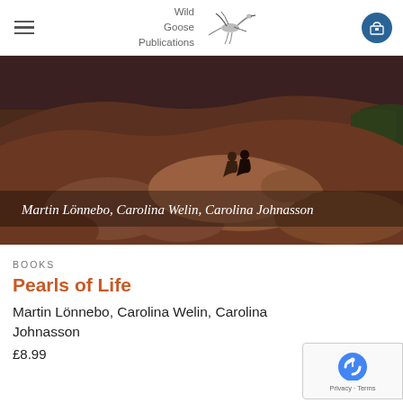Wild Goose Publications
[Figure (photo): Dramatic rocky mountain landscape with reddish-brown terrain. Two people are sitting on a large boulder. White text overlay reads: Martin Lönnebo, Carolina Welin, Carolina Johnasson]
BOOKS
Pearls of Life
Martin Lönnebo, Carolina Welin, Carolina Johnasson
£8.99